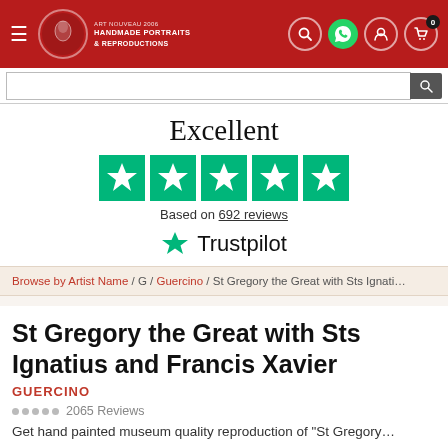[Figure (screenshot): Website header bar with hamburger menu, logo for Handmade Portraits & Reproductions, search icon, WhatsApp icon, user icon, and cart icon with badge showing 0]
[Figure (screenshot): Search bar input field with dark search button]
Excellent
[Figure (other): Five green Trustpilot star rating boxes]
Based on 692 reviews
[Figure (logo): Trustpilot logo with green star and Trustpilot text]
Browse by Artist Name / G / Guercino / St Gregory the Great with Sts Ignati…
St Gregory the Great with Sts Ignatius and Francis Xavier
GUERCINO
2065 Reviews
Get hand painted museum quality reproduction of "St Gregory…